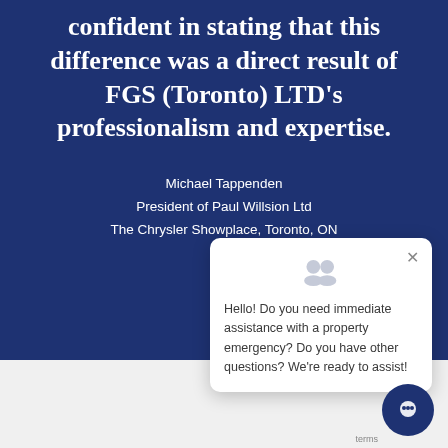confident in stating that this difference was a direct result of FGS (Toronto) LTD's professionalism and expertise.
Michael Tappenden
President of Paul Willsion Ltd
The Chrysler Showplace, Toronto, ON
[Figure (screenshot): Chat popup widget showing avatar icons and message: Hello! Do you need immediate assistance with a property emergency? Do you have other questions? We're ready to assist!]